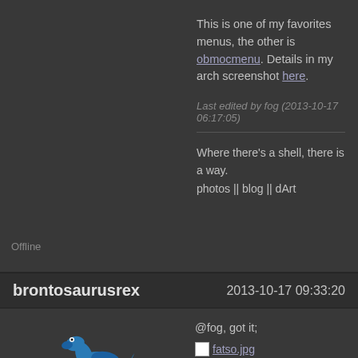This is one of my favorites menus, the other is obmocmenu. Details in my arch screenshot here.
Last edited by fog (2013-10-17 06:17:05)
Where there's a shell, there is a way.
photos || blog || dArt
Offline
brontosaurusrex   2013-10-17 09:33:20
@fog, got it;
[Figure (other): Image link to fatso.jpg]
Last edited by brontosaurusrex (2013-10-17 11:02:50)